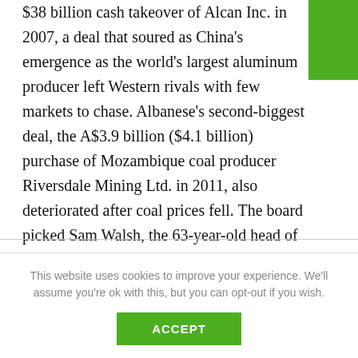$38 billion cash takeover of Alcan Inc. in 2007, a deal that soured as China's emergence as the world's largest aluminum producer left Western rivals with few markets to chase. Albanese's second-biggest deal, the A$3.9 billion ($4.1 billion) purchase of Mozambique coal producer Riversdale Mining Ltd. in 2011, also deteriorated after coal prices fell. The board picked Sam Walsh, the 63-year-old head of Rio's iron ore unit, to turn around the London-based company that under Albanese and departing Chief Financial Officer Guy Elliott has written down asset values at its aluminum division by more than $29 billion since 2009. The
This website uses cookies to improve your experience. We'll assume you're ok with this, but you can opt-out if you wish.
ACCEPT